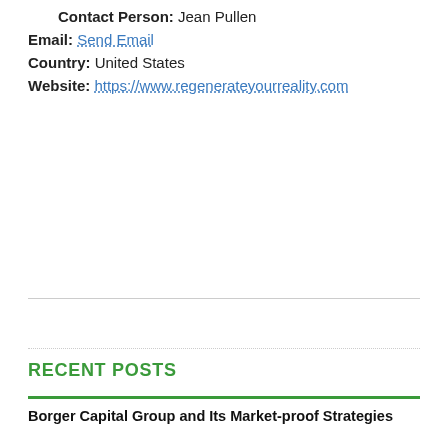Contact Person: Jean Pullen
Email: Send Email
Country: United States
Website: https://www.regenerateyourreality.com
RECENT POSTS
Borger Capital Group and Its Market-proof Strategies